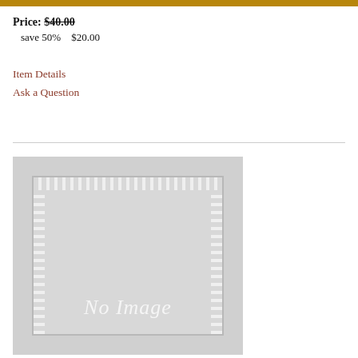Price: $40.00
  save 50%    $20.00
Item Details
Ask a Question
[Figure (illustration): Placeholder 'No Image' graphic with decorative border on grey background]